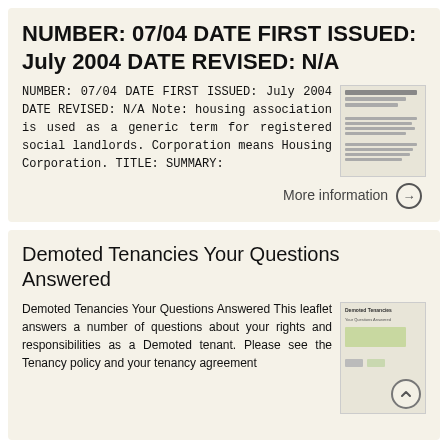NUMBER: 07/04 DATE FIRST ISSUED: July 2004 DATE REVISED: N/A
NUMBER: 07/04 DATE FIRST ISSUED: July 2004 DATE REVISED: N/A Note: housing association is used as a generic term for registered social landlords. Corporation means Housing Corporation. TITLE: SUMMARY:
More information →
Demoted Tenancies Your Questions Answered
Demoted Tenancies Your Questions Answered This leaflet answers a number of questions about your rights and responsibilities as a Demoted tenant. Please see the Tenancy policy and your tenancy agreement